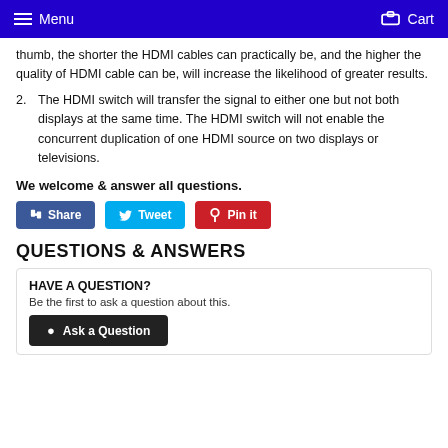Menu   Cart
thumb, the shorter the HDMI cables can practically be, and the higher the quality of HDMI cable can be, will increase the likelihood of greater results.
2. The HDMI switch will transfer the signal to either one but not both displays at the same time. The HDMI switch will not enable the concurrent duplication of one HDMI source on two displays or televisions.
We welcome & answer all questions.
Share   Tweet   Pin it
QUESTIONS & ANSWERS
HAVE A QUESTION?
Be the first to ask a question about this.
Ask a Question